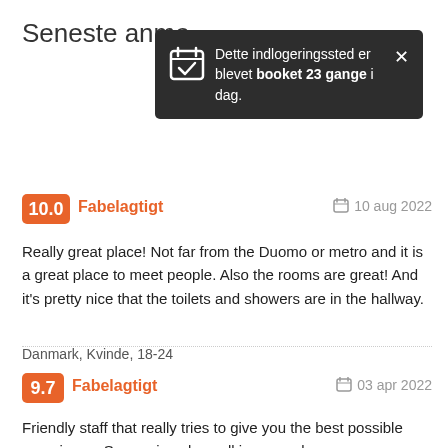Seneste anme…
[Figure (infographic): Dark tooltip popup showing: 'Dette indlogeringssted er blevet booket 23 gange i dag.' with a calendar checkmark icon and an X close button]
10.0  Fabelagtigt    📅 10 aug 2022
Really great place! Not far from the Duomo or metro and it is a great place to meet people. Also the rooms are great! And it's pretty nice that the toilets and showers are in the hallway.
Danmark, Kvinde, 18-24
9.7  Fabelagtigt    📅 03 apr 2022
Friendly staff that really tries to give you the best possible experience. Super nice place all in general